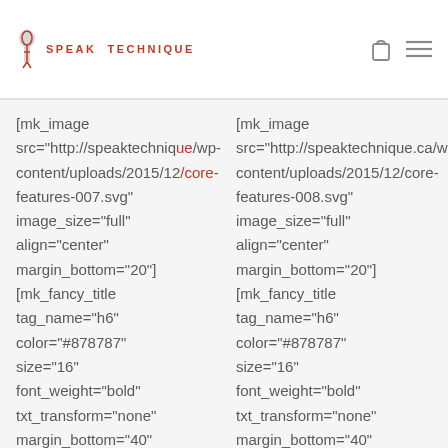SPEAK TECHNIQUE
[mk_image src="http://speaktechnique.ca/wp-content/uploads/2015/12/core-features-007.svg" image_size="full" align="center" margin_bottom="20"] [mk_fancy_title tag_name="h6" color="#878787" size="16" font_weight="bold" txt_transform="none" margin_bottom="40" font_family="none"
[mk_image src="http://speaktechnique.ca/wp-content/uploads/2015/12/core-features-008.svg" image_size="full" align="center" margin_bottom="20"] [mk_fancy_title tag_name="h6" color="#878787" size="16" font_weight="bold" txt_transform="none" margin_bottom="40" font_family="none"